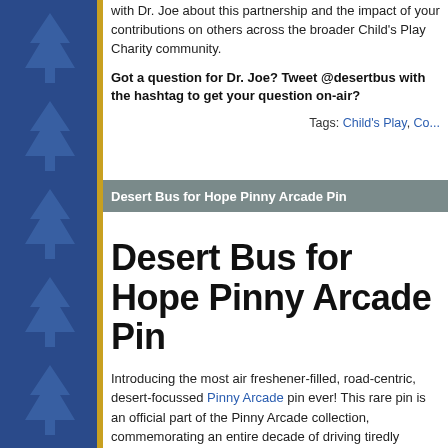with Dr. Joe about this partnership and the impact of your contributions on others across the broader Child's Play Charity community.
Got a question for Dr. Joe? Tweet @desertbus with the hashtag to get your question on-air?
Tags: Child's Play, Co...
Desert Bus for Hope Pinny Arcade Pin
Desert Bus for Hope Pinny Arcade Pin
Introducing the most air freshener-filled, road-centric, desert-focussed Pinny Arcade pin ever! This rare pin is an official part of the Pinny Arcade collection, commemorating an entire decade of driving tiredly through virtual desert landscapes in the service of aiding sick children.